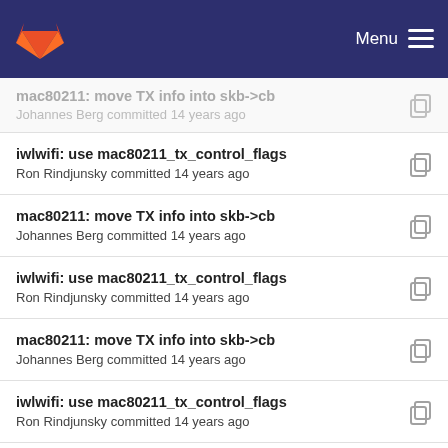Menu
mac80211: move TX info into skb->cb
Johannes Berg committed 14 years ago
iwlwifi: use mac80211_tx_control_flags
Ron Rindjunsky committed 14 years ago
mac80211: move TX info into skb->cb
Johannes Berg committed 14 years ago
iwlwifi: use mac80211_tx_control_flags
Ron Rindjunsky committed 14 years ago
mac80211: move TX info into skb->cb
Johannes Berg committed 14 years ago
iwlwifi: use mac80211_tx_control_flags
Ron Rindjunsky committed 14 years ago
mac80211: move TX info into skb->cb
Johannes Berg committed 14 years ago
iwlwifi: TLC modifications
Guy Cohen committed 14 years ago